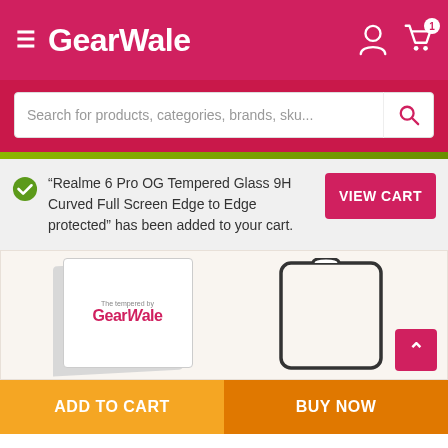GearWale
Search for products, categories, brands, sku...
"Realme 6 Pro OG Tempered Glass 9H Curved Full Screen Edge to Edge protected" has been added to your cart.
[Figure (screenshot): GearWale product tempered glass image showing packaging and phone outline]
ADD TO CART
BUY NOW